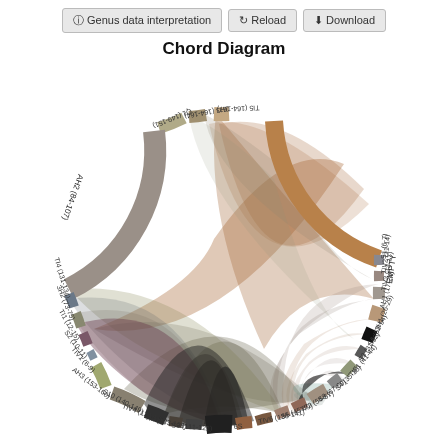[Figure (other): Toolbar with three buttons: 'i Genus data interpretation', 'Reload', and 'Download']
Chord Diagram
[Figure (other): Chord diagram showing relationships between genomic segments/loci including EMPTY, S1 (6-7), TIV2 (11-14), TIV3 (13-17), AH1 (17-24), 3H1 (26-29), S6 (52-54), S3 (31-32), TIF1 (41-44), S4 (35-38), S8 (67-69), T72 (54-57), S5 (45-49), TIV6 (138-141), 6S, S9 (111-121), TI2 (123-126), TIV4 (124-127), S10 (140-149), AH3 (153-160), TIV1 (6-9), S2 (10-11), TI1 (12-15), 3H2 (73-75), TI4 (131-134), AH2 (84-107), Q1 (149-151), 3H3 (164-167), TI5 (164-167). Large chords connect EMPTY and AH2 to multiple segments.]